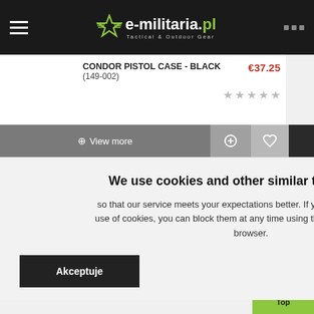e-militaria.pl Tactical & Outdoor Gear
CONDOR PISTOL CASE - BLACK (149-002) €37.25
[Figure (screenshot): View more button with compare and wishlist icons in action bar]
[Figure (screenshot): FILTER tab on right side]
We use cookies and other similar technologies, so that our service meets your expectations better. If you do not agree to the use of cookies, you can block them at any time using the settings of your web browser.
Akceptuje